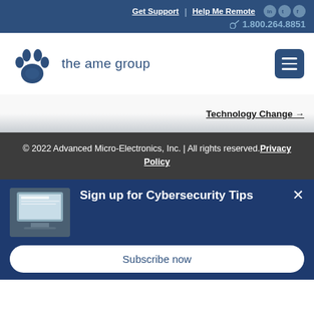Get Support | Help Me Remote | 1.800.264.8851
[Figure (logo): The AME Group logo with paw print icon and text 'the ame group']
Technology Change →
© 2022 Advanced Micro-Electronics, Inc. | All rights reserved. Privacy Policy
Sign up for Cybersecurity Tips
Subscribe now